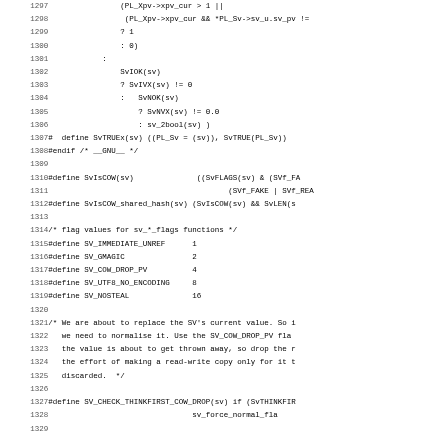Source code listing lines 1297-1329, C/Perl header file with preprocessor macros and comments